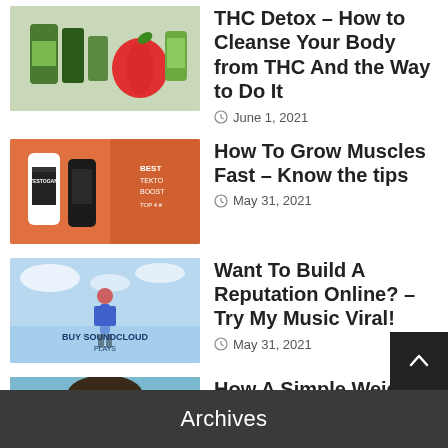[Figure (photo): Product image showing THC detox drinks and supplements]
THC Detox – How to Cleanse Your Body from THC And the Way to Do It
June 1, 2021
[Figure (photo): Testosterone booster supplement bottles with orange background]
How To Grow Muscles Fast – Know the tips
May 31, 2021
[Figure (photo): Buy SoundCloud Plays advertisement with illustrated person]
Want To Build A Reputation Online? – Try My Music Viral!
May 31, 2021
[Figure (photo): Man in blue shirt smiling and eating watermelon outdoors]
How A Simple Weight Loss Product Can Make Men Happy
May 30, 2021
Archives